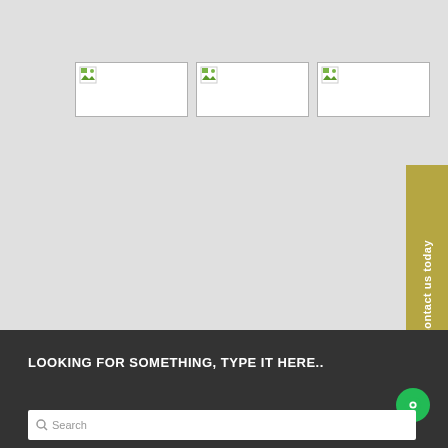[Figure (other): Three broken/unloaded image placeholders shown in a row with placeholder icons]
[Figure (other): Contact us today vertical tab button in olive/gold color on right side]
LOOKING FOR SOMETHING, TYPE IT HERE..
[Figure (other): Green circular chat/message bubble icon in bottom right area]
Search